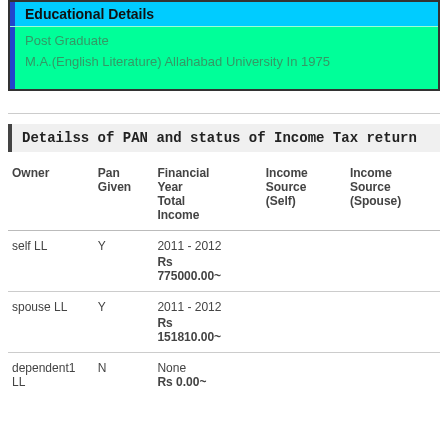Educational Details
Post Graduate
M.A.(English Literature) Allahabad University In 1975
Detailss of PAN and status of Income Tax return
| Owner | Pan Given | Financial Year Total Income | Income Source (Self) | Income Source (Spouse) |
| --- | --- | --- | --- | --- |
| self LL | Y | 2011 - 2012
Rs 775000.00~ |  |  |
| spouse LL | Y | 2011 - 2012
Rs 151810.00~ |  |  |
| dependent1 LL | N | None
Rs 0.00~ |  |  |